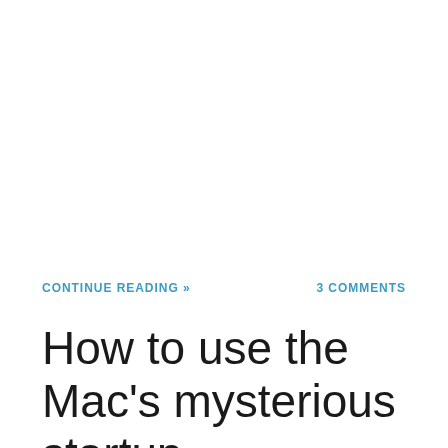CONTINUE READING »
3 COMMENTS
How to use the Mac's mysterious startup